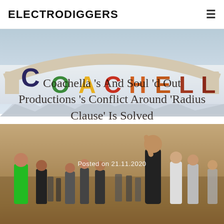ELECTRODIGGERS
[Figure (photo): Coachella festival entrance arch with colorful letters spelling COACHELLA, crowd of festival-goers in foreground, desert mountains in background, hazy sky]
Coachella's And Soul'd Out Productions's Conflict Around 'Radius Clause' Is Solved
Posted on 21.11.2020